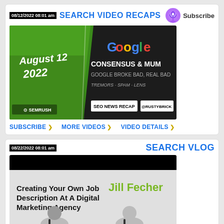SEARCH VIDEO RECAPS | Subscribe
08/12/2022 08:01 am
[Figure (screenshot): Video thumbnail for SEO News Recap August 12 2022 featuring Google Consensus & MUM, Google Broke Bad Real Bad, Tremors Spam Lens, Semrush, @RustyBrick]
SUBSCRIBE | MORE VIDEOS | VIDEO DETAILS
08/22/2022 08:01 am
SEARCH VLOG
[Figure (screenshot): Video thumbnail for Search Vlog: Creating Your Own Job Description At A Digital Marketing Agency featuring Jill Fecher]